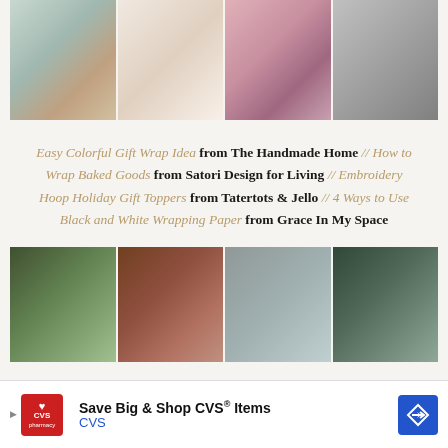[Figure (photo): Grid of four photos: colorful gift wrapping with red ribbon, cookies/baked goods on a plate, embroidery hoop gift toppers with ornaments and ribbon, black and white wrapped gift boxes]
Easy Colorful Gift Wrap Idea from The Handmade Home // How to Wrap Baked Goods from Satori Design for Living // Embroidery Hoop Holiday Gift Toppers from Tatertots & Jello // 4 Ways to Use Black and White Wrapping Paper from Grace In My Space
[Figure (photo): Grid of four photos: gifts under Christmas tree with blue ribbons, hands wrapping brown kraft paper package with greenery, metallic silver ribbon spools, blue-green ribbon bow on gift with tree cutouts]
[Figure (other): CVS advertisement banner: Save Big & Shop CVS Items, CVS logo in red, blue diamond arrow button]